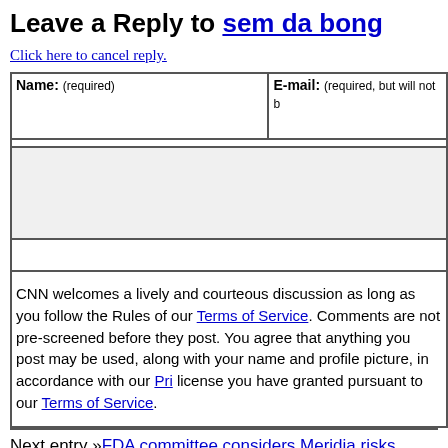Leave a Reply to sem da bong
Click here to cancel reply.
Name: (required)   E-mail: (required, but will not be published)
CNN welcomes a lively and courteous discussion as long as you follow the Rules of our Terms of Service. Comments are not pre-screened before they post. You agree that anything you post may be used, along with your name and profile picture, in accordance with our Privacy Policy and the license you have granted pursuant to our Terms of Service.
Next entry »FDA committee considers Meridia risks
« Previous entryWhat causes pyogenic granuloma?